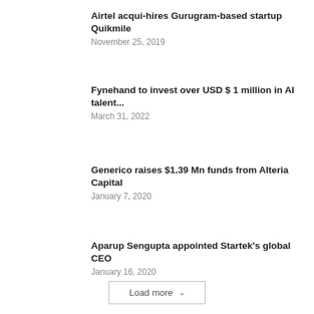Airtel acqui-hires Gurugram-based startup Quikmile
November 25, 2019
Fynehand to invest over USD $ 1 million in AI talent...
March 31, 2022
Generico raises $1.39 Mn funds from Alteria Capital
January 7, 2020
Aparup Sengupta appointed Startek's global CEO
January 16, 2020
Load more